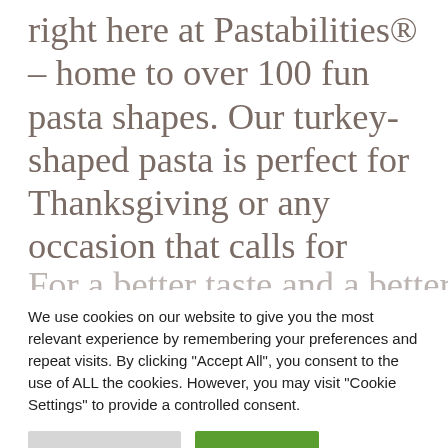right here at Pastabilities® – home to over 100 fun pasta shapes. Our turkey-shaped pasta is perfect for Thanksgiving or any occasion that calls for something creative and unique. Handcrafted in small batches, our delicious pasta is made from premium ingredients, with a unique flavor and texture.
We use cookies on our website to give you the most relevant experience by remembering your preferences and repeat visits. By clicking "Accept All", you consent to the use of ALL the cookies. However, you may visit "Cookie Settings" to provide a controlled consent.